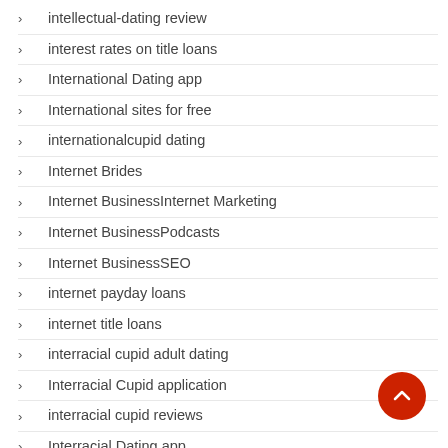intellectual-dating review
interest rates on title loans
International Dating app
International sites for free
internationalcupid dating
Internet Brides
Internet BusinessInternet Marketing
Internet BusinessPodcasts
Internet BusinessSEO
internet payday loans
internet title loans
interracial cupid adult dating
Interracial Cupid application
interracial cupid reviews
Interracial Dating app